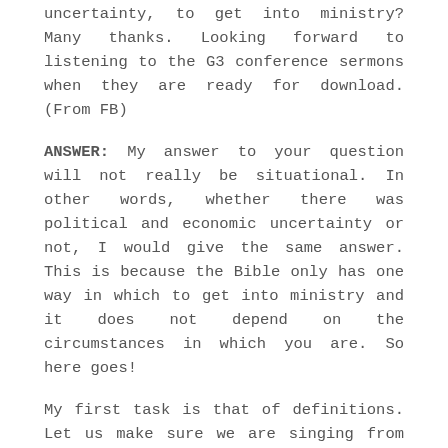uncertainty, to get into ministry? Many thanks. Looking forward to listening to the G3 conference sermons when they are ready for download. (From FB)
ANSWER: My answer to your question will not really be situational. In other words, whether there was political and economic uncertainty or not, I would give the same answer. This is because the Bible only has one way in which to get into ministry and it does not depend on the circumstances in which you are. So here goes!
My first task is that of definitions. Let us make sure we are singing from the same hymn sheet. I trust that by the phrase "getting into ministry" you are speaking about becoming an ordained preacher of the Word of God. This may be either as a church-planting missionary, or as a pastor of an